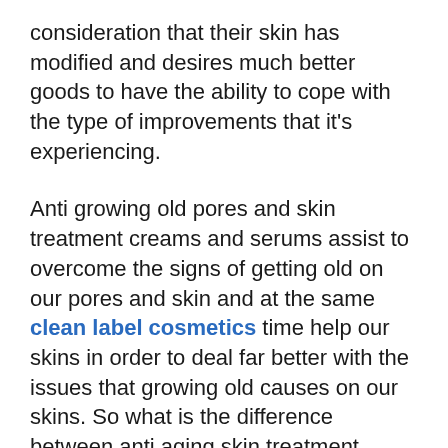consideration that their skin has modified and desires much better goods to have the ability to cope with the type of improvements that it's experiencing.
Anti growing old pores and skin treatment creams and serums assist to overcome the signs of getting old on our pores and skin and at the same clean label cosmetics time help our skins in order to deal far better with the issues that growing old causes on our skins. So what is the difference between anti aging skin treatment product and anti growing older serums?
Serums are explained to get a lot more concentrated components and textured in this kind of way as to raised penetrate the